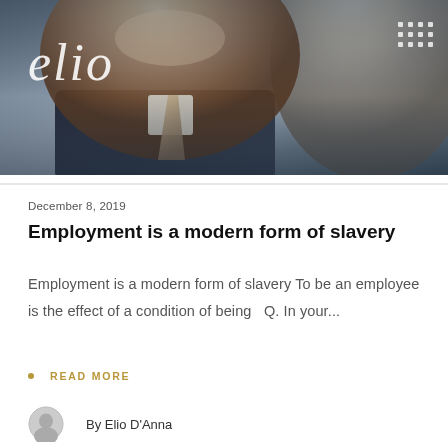[Figure (photo): Header image showing a smiling man in a suit and tie with other people in the background. The 'elio' logo appears in italic text in the upper left, and a grid of dots icon in the upper right.]
December 8, 2019
Employment is a modern form of slavery
Employment is a modern form of slavery To be an employee is the effect of a condition of being   Q. In your...
READ MORE
By Elio D'Anna